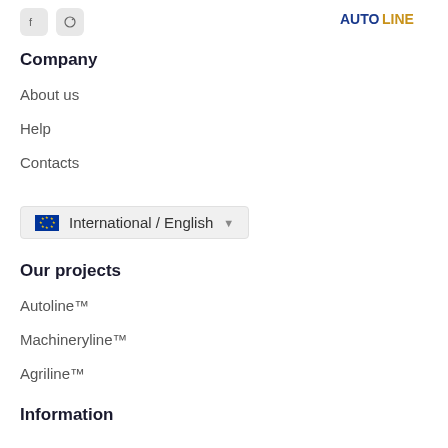[Social icons and logo]
Company
About us
Help
Contacts
International / English
Our projects
Autoline™
Machineryline™
Agriline™
Information